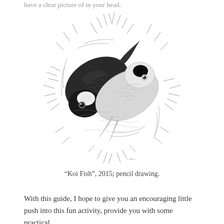have a clear picture of in your head.
[Figure (illustration): A detailed pencil drawing of two koi fish arranged in a yin-yang circular pattern, surrounded by stylized grass or reeds. One fish is dark/black and one is light/white, both with intricate scale and fin detail. Black and white pencil artwork with an artist's signature at the bottom right.]
“Koi Fish”, 2015; pencil drawing.
With this guide, I hope to give you an encouraging little push into this fun activity, provide you with some practical